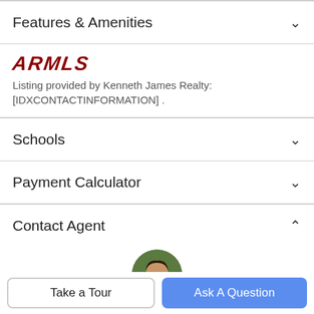Features & Amenities
[Figure (logo): ARMLS logo in bold dark red italic serif letters]
Listing provided by Kenneth James Realty: [IDXCONTACTINFORMATION] .
Schools
Payment Calculator
Contact Agent
[Figure (photo): Circular profile photo of a real estate agent, partially visible]
Take a Tour
Ask A Question